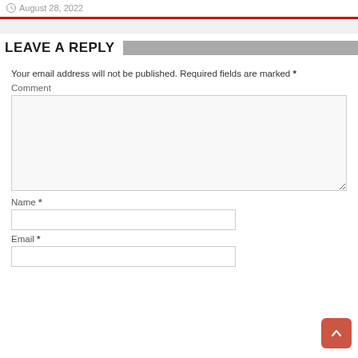August 28, 2022
LEAVE A REPLY
Your email address will not be published. Required fields are marked *
Comment
Name *
Email *